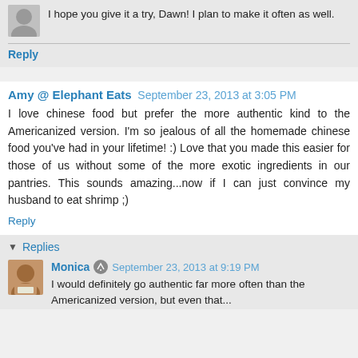I hope you give it a try, Dawn! I plan to make it often as well.
Reply
Amy @ Elephant Eats  September 23, 2013 at 3:05 PM
I love chinese food but prefer the more authentic kind to the Americanized version. I'm so jealous of all the homemade chinese food you've had in your lifetime! :) Love that you made this easier for those of us without some of the more exotic ingredients in our pantries. This sounds amazing...now if I can just convince my husband to eat shrimp ;)
Reply
Replies
Monica  September 23, 2013 at 9:19 PM
I would definitely go authentic far more often than the Americanized version, but even that...